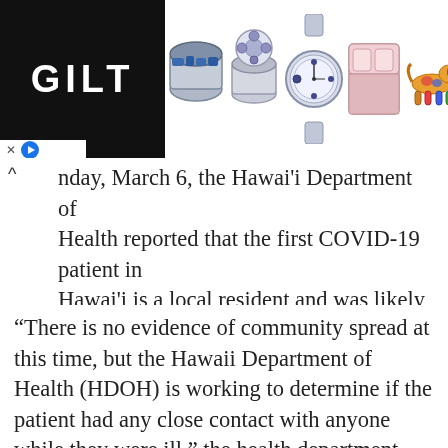[Figure (other): Gilt advertisement banner showing logo on black background on the left, and product images (rings, watch, bedding, colorful dog figurine) on the right]
nday, March 6, the Hawai'i Department of Health reported that the first COVID-19 patient in Hawai'i is a local resident and was likely exposed while aboard the Grand Princess cruise ship.
“There is no evidence of community spread at this time, but the Hawaii Department of Health (HDOH) is working to determine if the patient had any close contact with anyone while they were ill,” the health department said. “Initial investigations indicate that there were no such contacts.”